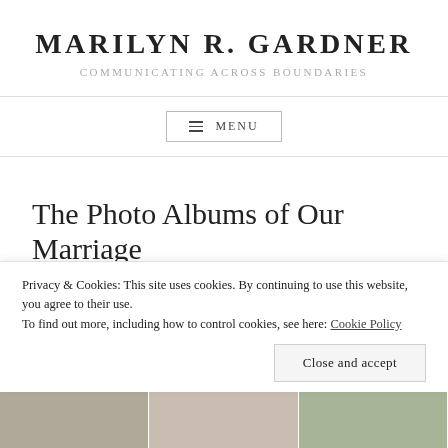MARILYN R. GARDNER
COMMUNICATING ACROSS BOUNDARIES
≡ MENU
The Photo Albums of Our Marriage
JULY 15, 2015 ~ MARILYN
Privacy & Cookies: This site uses cookies. By continuing to use this website, you agree to their use.
To find out more, including how to control cookies, see here: Cookie Policy
Close and accept